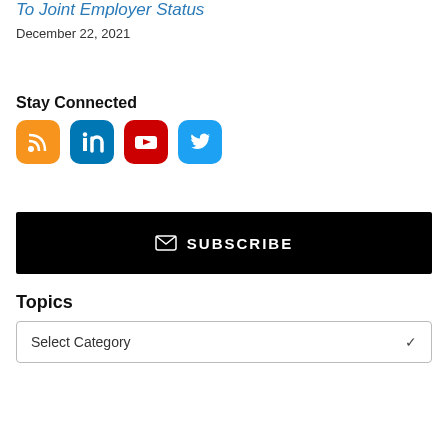To Joint Employer Status
December 22, 2021
Stay Connected
[Figure (infographic): Four social media icons: RSS (orange), LinkedIn (blue), YouTube (red), Twitter (light blue)]
[Figure (infographic): Black subscribe button with envelope icon and text SUBSCRIBE]
Topics
Select Category